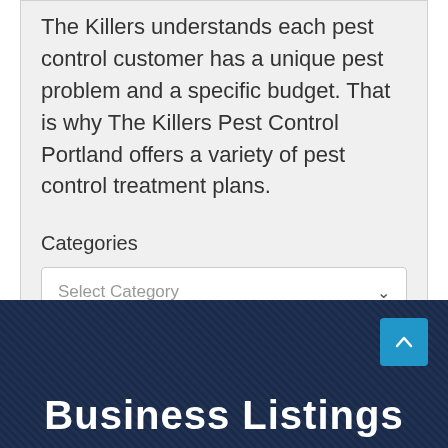The Killers understands each pest control customer has a unique pest problem and a specific budget. That is why The Killers Pest Control Portland offers a variety of pest control treatment plans.
Categories
Select Category
Business Listings